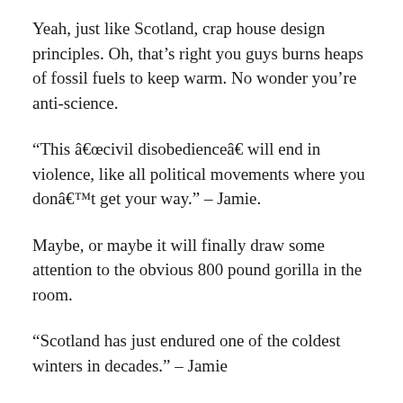Yeah, just like Scotland, crap house design principles. Oh, that’s right you guys burns heaps of fossil fuels to keep warm. No wonder you’re anti-science.
“This â€œcivil disobedienceâ€� will end in violence, like all political movements where you donâ€™t get your way.” – Jamie.
Maybe, or maybe it will finally draw some attention to the obvious 800 pound gorilla in the room.
“Scotland has just endured one of the coldest winters in decades.” – Jamie